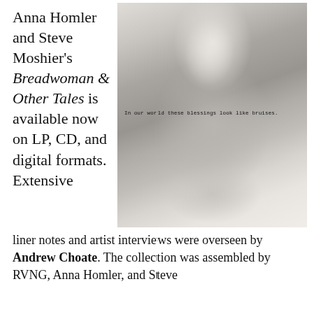Anna Homler and Steve Moshier's Breadwoman & Other Tales is available now on LP, CD, and digital formats. Extensive
[Figure (photo): Black and white photograph of a figure wrapped in a draped shawl or blanket, with text overlay reading 'In our world these blessings look like bruises.']
liner notes and artist interviews were overseen by Andrew Choate. The collection was assembled by RVNG, Anna Homler, and Steve